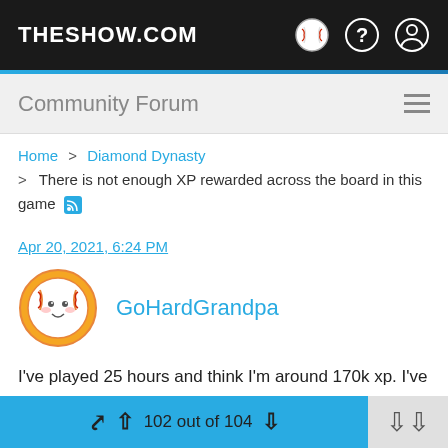THESHOW.COM
Community Forum
Home > Diamond Dynasty > There is not enough XP rewarded across the board in this game
Apr 20, 2021, 6:24 PM
GoHardGrandpa
I've played 25 hours and think I'm around 170k xp. I've done every conquest map, the player programs and moments. I did take 3 days off work and only ate slept and played this game. When does
102 out of 104